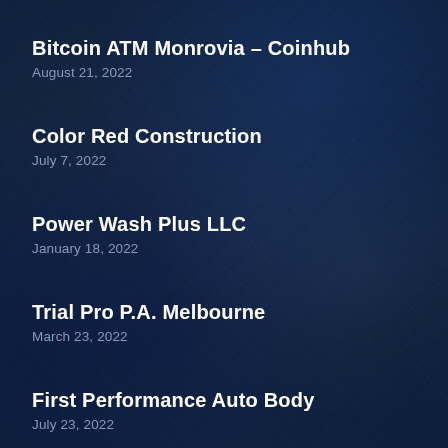Bitcoin ATM Monrovia – Coinhub
August 21, 2022
Color Red Construction
July 7, 2022
Power Wash Plus LLC
January 18, 2022
Trial Pro P.A. Melbourne
March 23, 2022
First Performance Auto Body
July 23, 2022